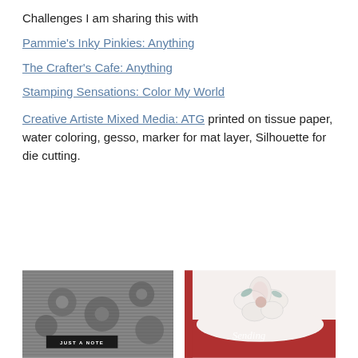Challenges I am sharing this with
Pammie's Inky Pinkies: Anything
The Crafter's Cafe: Anything
Stamping Sensations: Color My World
Creative Artiste Mixed Media: ATG printed on tissue paper, water coloring, gesso, marker for mat layer, Silhouette for die cutting.
[Figure (photo): Black and white photo of a card with floral/daisy pattern and a label reading JUST A NOTE]
[Figure (photo): Photo of a card with red/white design featuring a magnolia flower and text reading Sending]